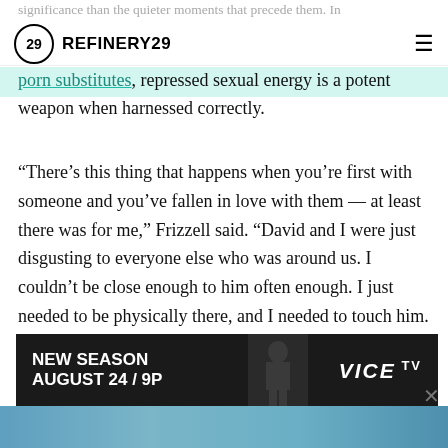significance than the quieter moments that precede them. In
REFINERY29
porn substitutes, repressed sexual energy is a potent weapon when harnessed correctly.
“There’s this thing that happens when you’re first with someone and you’ve fallen in love with them — at least there was for me,” Frizzell said. “David and I were just disgusting to everyone else who was around us. I couldn’t be close enough to him often enough. I just needed to be physically there, and I needed to touch him. And it was like, you’re two magnets and you’re just drawn together. This is what I wanted the movie to feel like: That feeling of you’ve met the person that you’re so drawn to that you cannot move away.”
[Figure (infographic): Advertisement banner: NEW SEASON AUGUST 24 / 9P VICE TV with dark background and silhouette figure]